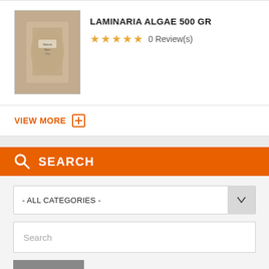[Figure (photo): Product image of Laminaria Algae 500 GR in a beige/tan bag]
LAMINARIA ALGAE 500 GR
☆☆☆☆☆ 0 Review(s)
VIEW MORE ⊞
🔍 SEARCH
- ALL CATEGORIES -
Search
GO